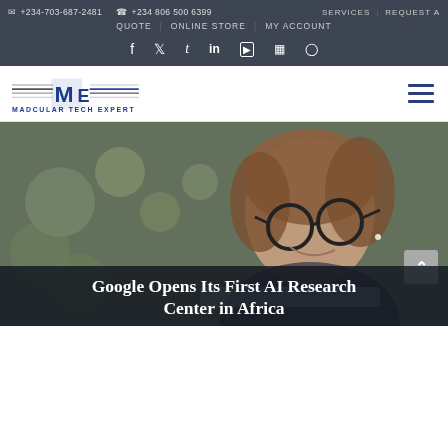+234-703-687-2481  +234 806 500 6399  SERVICES  REQUEST A QUOTE  ONLINE STORE  MY ACCOUNT
[Figure (logo): Madcular Tech Expert logo with stylized M and horizontal lines]
[Figure (photo): Woman with glasses smiling while looking at a laptop, with blurred green background]
Google Opens Its First AI Research Center in Africa